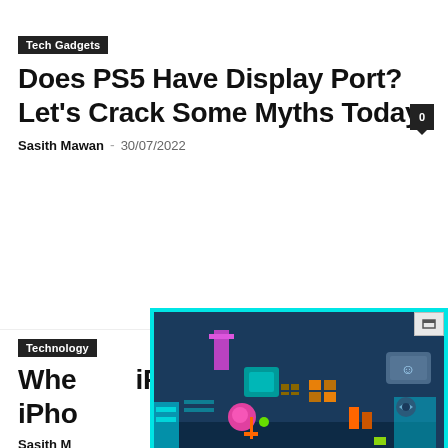Tech Gadgets
Does PS5 Have Display Port? Let’s Crack Some Myths Today
Sasith Mawan – 30/07/2022
Technology
Whe… iPho…
Sasith M…
[Figure (screenshot): A popup video player overlay showing a dark blue sci-fi themed game scene with cyan/teal border frame. Various game UI elements, buttons and icons visible. Close X button in top right corner and a minimize/restore button.]